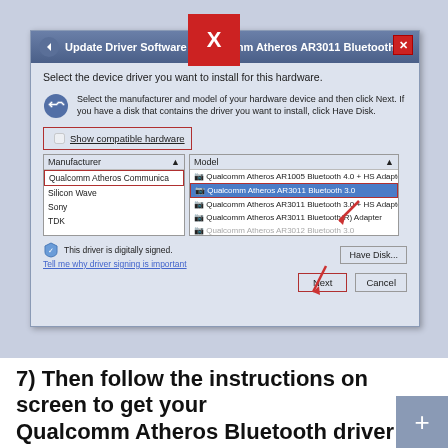[Figure (screenshot): Windows 'Update Driver Software - Qualcomm Atheros AR3011 Bluetooth 3.0' dialog box showing manufacturer list with 'Qualcomm Atheros Communica' selected (red border), model list with 'Qualcomm Atheros AR3011 Bluetooth 3.0' highlighted in blue (red border and red arrow pointing to it), 'Show compatible hardware' checkbox (red border), 'Have Disk...' button, 'Next' button (red border with red arrow pointing to it), and 'Cancel' button. A large red 'X' box overlays the title bar center. The dialog shows: Manufacturers: Qualcomm Atheros Communica, Silicon Wave, Sony, TDK. Models: Qualcomm Atheros AR1005 Bluetooth 4.0 + HS Adapter, Qualcomm Atheros AR3011 Bluetooth 3.0 (selected), Qualcomm Atheros AR3011 Bluetooth 3.0 + HS Adapter, Qualcomm Atheros AR3011 Bluetooth(R) Adapter.]
7) Then follow the instructions on screen to get your Qualcomm Atheros Bluetooth driver installed.